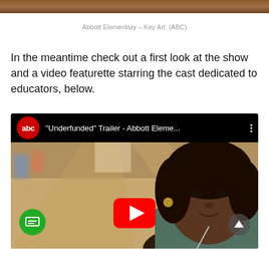[Figure (photo): Top strip of Abbott Elementary key art image (ABC)]
Abbott Elementary – Key Art. (ABC)
In the meantime check out a first look at the show and a video featurette starring the cast dedicated to educators, below.
[Figure (screenshot): YouTube video embed showing ABC's 'Underfunded' Trailer - Abbott Elementary... with a Black woman in a school hallway, play button overlay, caption icon, and scroll-up button]